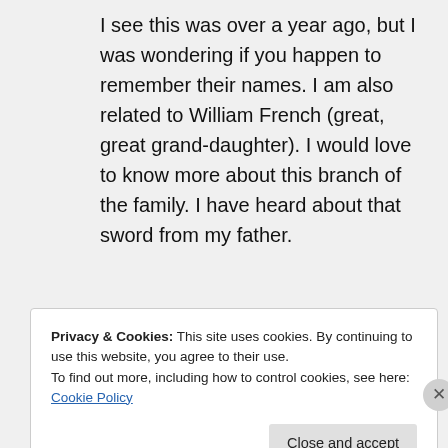I see this was over a year ago, but I was wondering if you happen to remember their names. I am also related to William French (great, great grand-daughter). I would love to know more about this branch of the family. I have heard about that sword from my father.
↳ Reply
Privacy & Cookies: This site uses cookies. By continuing to use this website, you agree to their use.
To find out more, including how to control cookies, see here: Cookie Policy